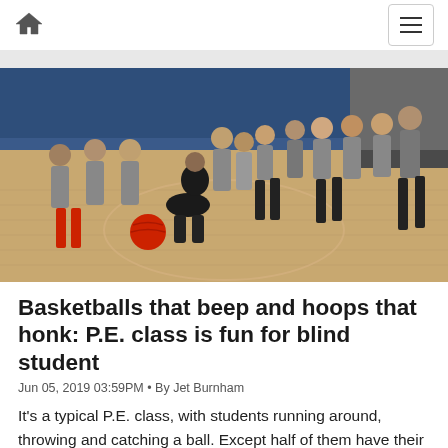Home | Menu
[Figure (photo): Students playing a game in a gymnasium. One student is bent down reaching for a red ball on the hardwood floor. Other students are watching and gathered in a group, many wearing grey t-shirts. A blue gym mat is visible on the wall in the background.]
Basketballs that beep and hoops that honk: P.E. class is fun for blind student
Jun 05, 2019 03:59PM • By Jet Burnham
It's a typical P.E. class, with students running around, throwing and catching a ball. Except half of them have their eyes closed, and the ball they are frantically